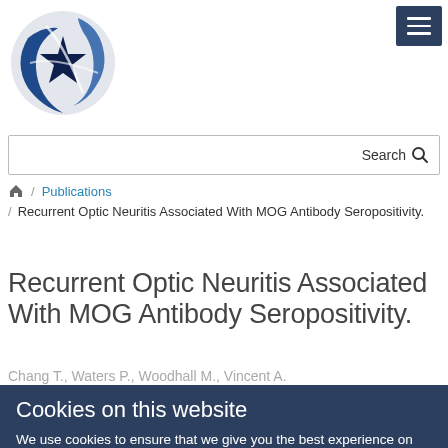[Figure (logo): Oxford Neuroscience logo — circular brain/neuroscience graphic in dark blue on the left, with 'OXFORD NEUROSCIENCE' text on the right in dark navy bold serif/sans font]
Search
🏠 / Publications / Recurrent Optic Neuritis Associated With MOG Antibody Seropositivity.
Recurrent Optic Neuritis Associated With MOG Antibody Seropositivity.
Chang T., Waters P., Woodhall M., Vincent A.
Cookies on this website
We use cookies to ensure that we give you the best experience on our website. If you click 'Accept all cookies'